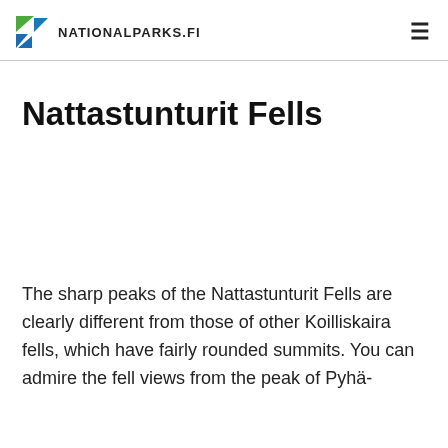NATIONALPARKS.FI
Nattastunturit Fells
The sharp peaks of the Nattastunturit Fells are clearly different from those of other Koilliskaira fells, which have fairly rounded summits. You can admire the fell views from the peak of Pyhä-